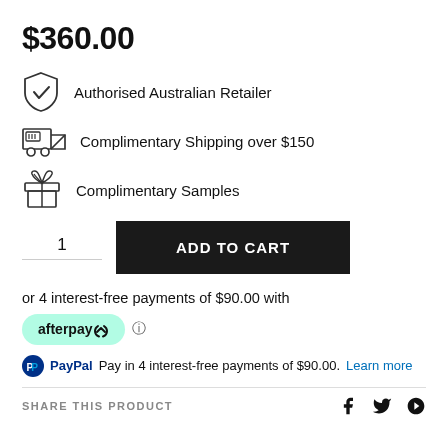$360.00
Authorised Australian Retailer
Complimentary Shipping over $150
Complimentary Samples
1  ADD TO CART
or 4 interest-free payments of $90.00 with
[Figure (logo): Afterpay logo badge in mint green rounded rectangle]
PayPal  Pay in 4 interest-free payments of $90.00.  Learn more
SHARE THIS PRODUCT